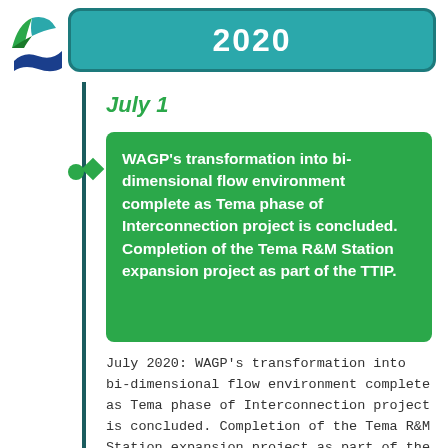[Figure (logo): WAGP organization logo with green and blue stylized wave/leaf shapes]
2020
July 1
WAGP’s transformation into bi-dimensional flow environment complete as Tema phase of Interconnection project is concluded. Completion of the Tema R&M Station expansion project as part of the TTIP.
July 2020: WAGP’s transformation into bi-dimensional flow environment complete as Tema phase of Interconnection project is concluded. Completion of the Tema R&M Station expansion project as part of the TTIP. Expanded delivery capacity from 144 MMscfd